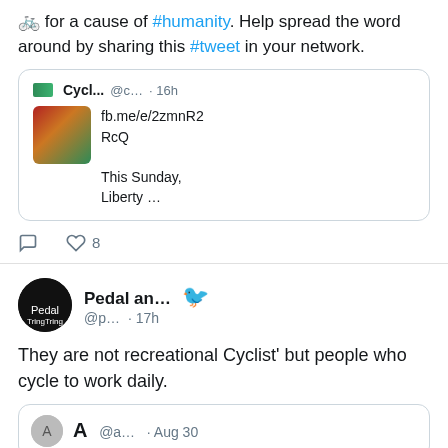🚲 for a cause of #humanity. Help spread the word around by sharing this #tweet in your network.
[Figure (screenshot): Quoted tweet from Cycl... @c... · 16h with link fb.me/e/2zmnR2RcQ and text 'This Sunday, Liberty ...']
0 comments, 8 likes
Pedal an... @p... · 17h — They are not recreational Cyclist' but people who cycle to work daily.
[Figure (screenshot): Quoted tweet from @a... · Aug 30]